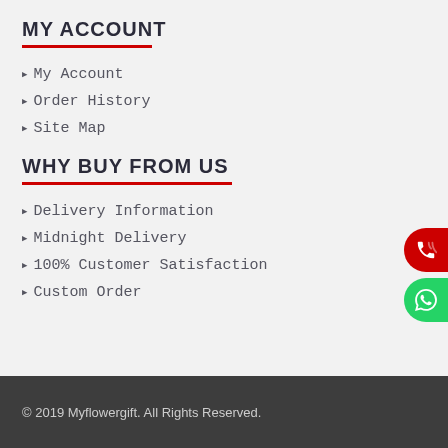MY ACCOUNT
My Account
Order History
Site Map
WHY BUY FROM US
Delivery Information
Midnight Delivery
100% Customer Satisfaction
Custom Order
© 2019 Myflowergift. All Rights Reserved.